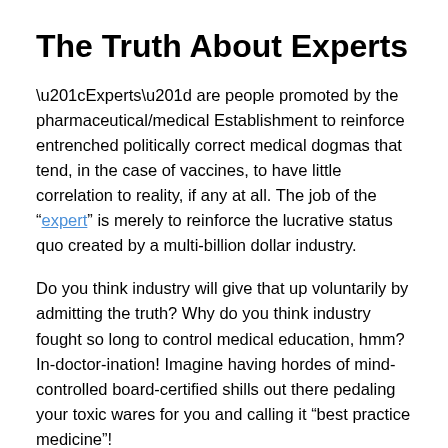The Truth About Experts
“Experts” are people promoted by the pharmaceutical/medical Establishment to reinforce entrenched politically correct medical dogmas that tend, in the case of vaccines, to have little correlation to reality, if any at all. The job of the “expert” is merely to reinforce the lucrative status quo created by a multi-billion dollar industry.
Do you think industry will give that up voluntarily by admitting the truth? Why do you think industry fought so long to control medical education, hmm? In-doctor-ination! Imagine having hordes of mind-controlled board-certified shills out there pedaling your toxic wares for you and calling it “best practice medicine”!